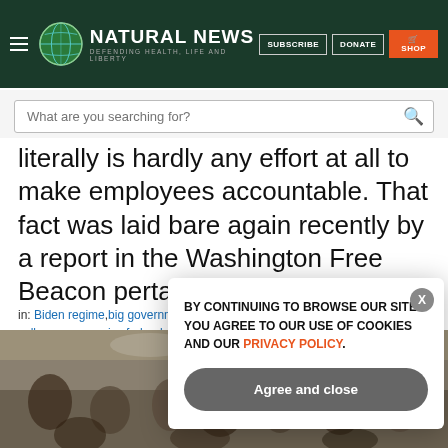Natural News — DEFENDING HEALTH, LIFE AND LIBERTY
What are you searching for?
literally is hardly any effort at all to make employees accountable. That fact was laid bare again recently by a report in the Washington Free Beacon pertaining to federal worker behaviors during the years-long COVID-19 'pandemic' […]
in: Biden regime, big government, Congress, covid-19, economic collapse, economics, federal agencies, FEDERAL EMPLOYEES, federal government, Federal Workers, government waste, inefficiency, national debt, pandemic, remote work, taxpayer abuse, programs, work ethic, hm…
[Figure (photo): Crowd of people in a room, photographed from above; appears to be a job fair or public meeting]
BY CONTINUING TO BROWSE OUR SITE YOU AGREE TO OUR USE OF COOKIES AND OUR PRIVACY POLICY. Agree and close